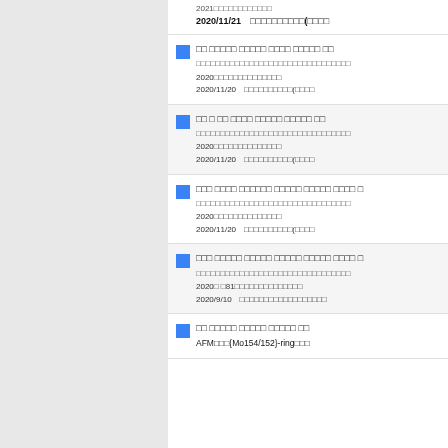2020/11/21　□□□□□□□□□□(□□□□
□□ □□□□□ □□□□□ □□□□ □□□□□ □□
□□□□□□□□□□□□□□□□□□□□□□□□□□□□□□□□
2020□□□□□□□□□□□□□□
2020/11/20　□□□□□□□□□□(□□□□
□□ □ □□ □□□□ □□□□□ □□□□□ □□
□□□□□□□□□□□□□□□□□□□□□□□□□□□□□□□□
2020□□□□□□□□□□□□□□
2020/11/20　□□□□□□□□□□(□□□□
□□□ □□□□ □□□□□□ □□□□□ □□□□□ □□□□ □
□□□□□□□□□□□□□□□□□□□□□□□□□□□□□□□□
2020□□□□□□□□□□□□□□
2020/11/20　□□□□□□□□□□(□□□□
□□□ □□□□□ □□□□□ □□□□□ □□□□□ □□□□ □
□□□□□□□□□□□□□□□□□□□□□□□□□□□□□□□□
2020□ □81□□□□□□□□□□□□□□
2020/9/10　□□□□□□□□□□□□□□□□□□
□□ □□□□□ □□□□□ □□□□□ □□
AFM□□□{Mo154/152}-ring□□□